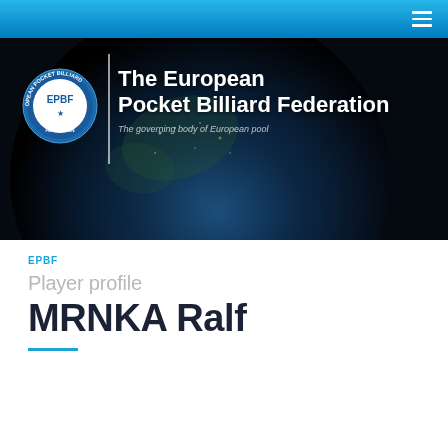[Figure (screenshot): EPBF website header/hero banner showing The European Pocket Billiard Federation logo and globe background image with text 'The European Pocket Billiard Federation' and tagline 'The governing body of European pool']
EPBF
Player profile
MRNKA Ralf